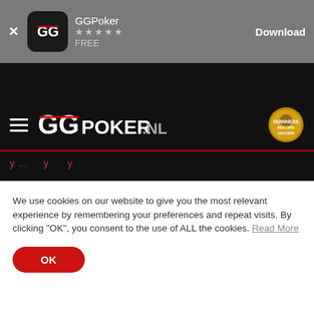[Figure (screenshot): GGPoker app download banner with app icon, star rating, FREE label, and Download button on grey background]
[Figure (logo): GGPoker.nl logo with hamburger menu icon and Guinness Record Holder badge on black background]
as defined in the Terms & Conditions.
This Privacy Policy is incorporated into, and forms part of, the Terms & Conditions.
We use cookies on our website to give you the most relevant experience by remembering your preferences and repeat visits. By clicking "OK", you consent to the use of ALL the cookies. Read More
OK